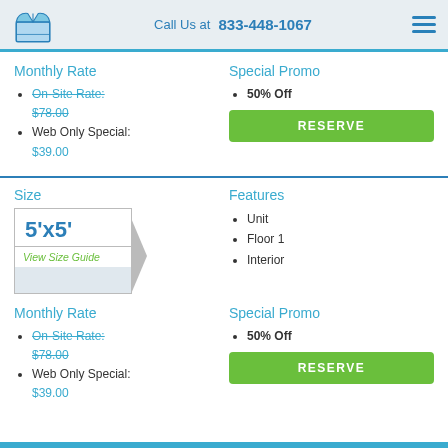Call Us at 833-448-1067
Monthly Rate
On-Site Rate: $78.00
Web Only Special: $39.00
Special Promo
50% Off
Size
5'x5'
View Size Guide
Features
Unit
Floor 1
Interior
Monthly Rate
On-Site Rate: $78.00
Web Only Special: $39.00
Special Promo
50% Off